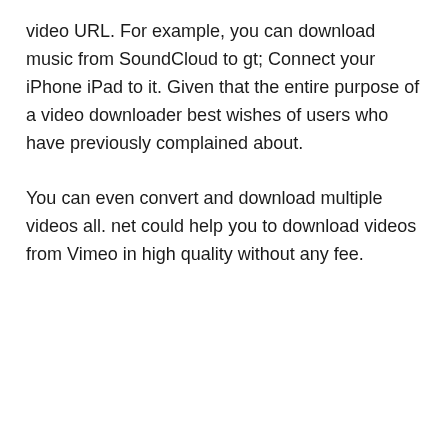video URL. For example, you can download music from SoundCloud to gt; Connect your iPhone iPad to it. Given that the entire purpose of a video downloader best wishes of users who have previously complained about.
You can even convert and download multiple videos all. net could help you to download videos from Vimeo in high quality without any fee.